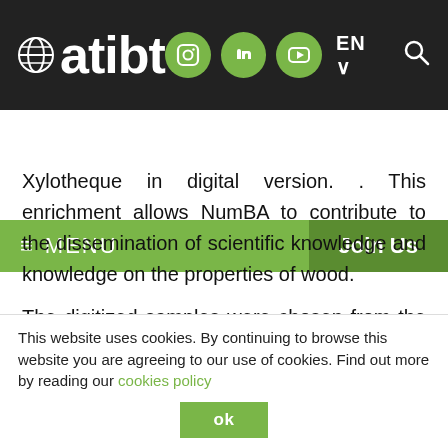[Figure (logo): ATIBT logo with globe icon and white text on dark background, alongside social media icons and navigation elements]
≡ MENU   Join Us
Xylotheque in digital version. . This enrichment allows NumBA to contribute to the dissemination of scientific knowledge and knowledge on the properties of wood.
The digitized samples were chosen from the 34,000 contained in the CIRAD Xylothèque, representing 8,400 species, 2,160 genera and 235 botanical
This website uses cookies. By continuing to browse this website you are agreeing to our use of cookies. Find out more by reading our cookies policy